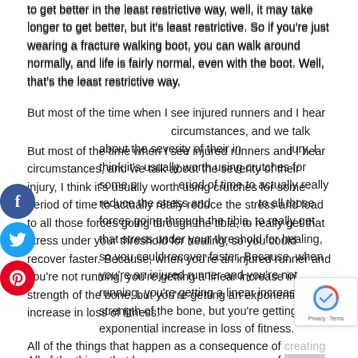to get better in the least restrictive way, well, it may take longer to get better, but it's least restrictive. So if you're just wearing a fracture walking boot, you can walk around normally, and life is fairly normal, even with the boot. Well, that's the least restrictive way.

But most of the time when I see injured runners and I hear circumstances, and we talk about the severity of their injury, I think it's usually worth using crutches for some period of time to actually really reduce the stress and load to all those forces going through the tibia, to really get that stress under your threshold for healing, so you could recover faster. Because, when you're an injured runner and you're not running, you're getting a linear increase in strength of the bone, but you're getting an exponential increase in loss of fitness.

All of the things that happen as a consequence of creating